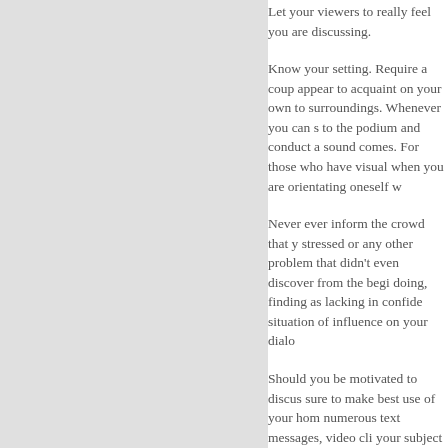Let your viewers to really feel you are discussing.
Know your setting. Require a couple appear to acquaint on your own to surroundings. Whenever you can s to the podium and conduct a sound comes. For those who have visual when you are orientating oneself w
Never ever inform the crowd that y stressed or any other problem that didn't even discover from the begi doing, finding as lacking in confide situation of influence on your dialo
Should you be motivated to discus sure to make best use of your hom numerous text messages, video cli your subject matter. Speak with pe Once you talk, it is possible to opt and reveal whatever you have disc present yourself as being an true s
Make use of your most powerful to supplying your information and wi better. Men and women listen mor self confidence, and communicatin